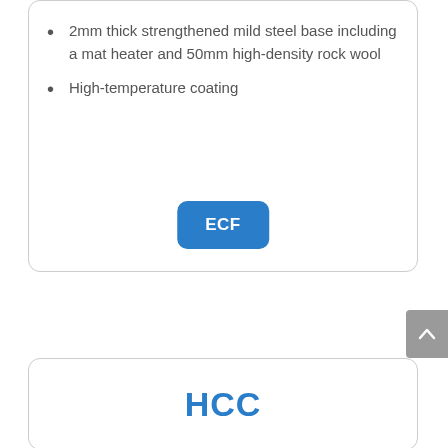2mm thick strengthened mild steel base including a mat heater and 50mm high-density rock wool
High-temperature coating
[Figure (other): Blue rounded rectangle button labeled ECF]
[Figure (other): Gray scroll-to-top arrow button on right edge]
HCC